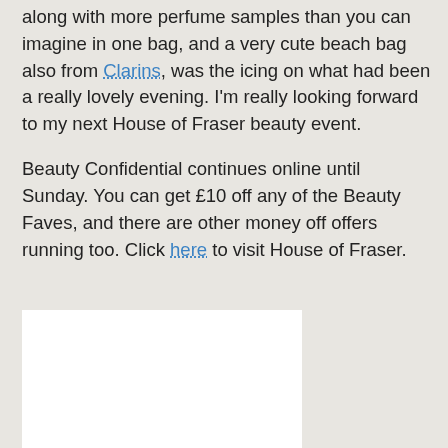along with more perfume samples than you can imagine in one bag, and a very cute beach bag also from Clarins, was the icing on what had been a really lovely evening. I'm really looking forward to my next House of Fraser beauty event.
Beauty Confidential continues online until Sunday. You can get £10 off any of the Beauty Faves, and there are other money off offers running too. Click here to visit House of Fraser.
[Figure (other): White rectangle placeholder/advertisement block]